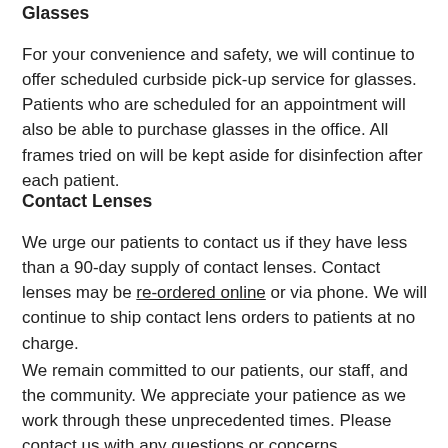Glasses
For your convenience and safety, we will continue to offer scheduled curbside pick-up service for glasses. Patients who are scheduled for an appointment will also be able to purchase glasses in the office. All frames tried on will be kept aside for disinfection after each patient.
Contact Lenses
We urge our patients to contact us if they have less than a 90-day supply of contact lenses. Contact lenses may be re-ordered online or via phone. We will continue to ship contact lens orders to patients at no charge.
We remain committed to our patients, our staff, and the community. We appreciate your patience as we work through these unprecedented times. Please contact us with any questions or concerns.